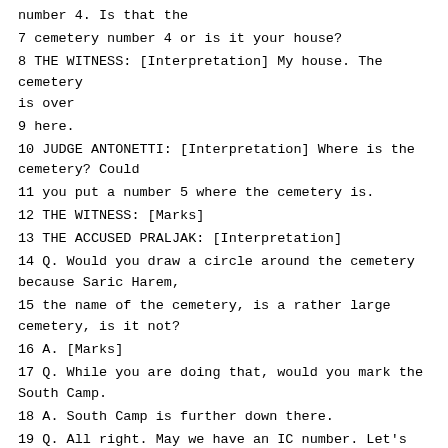number 4. Is that the
7 cemetery number 4 or is it your house?
8 THE WITNESS: [Interpretation] My house. The cemetery is over
9 here.
10 JUDGE ANTONETTI: [Interpretation] Where is the cemetery? Could
11 you put a number 5 where the cemetery is.
12 THE WITNESS: [Marks]
13 THE ACCUSED PRALJAK: [Interpretation]
14 Q. Would you draw a circle around the cemetery because Saric Harem,
15 the name of the cemetery, is a rather large cemetery, is it not?
16 A. [Marks]
17 Q. While you are doing that, would you mark the South Camp.
18 A. South Camp is further down there.
19 Q. All right. May we have an IC number. Let's move